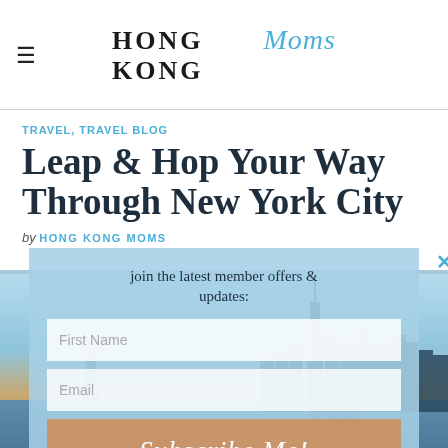HONG KONG Moms
TRAVEL, TRAVEL BLOG
Leap & Hop Your Way Through New York City
by HONG KONG MOMS
[Figure (photo): New York City skyline with Statue of Liberty in foreground, sunset sky]
join the latest member offers & updates: First Name Email Subscribe Me!